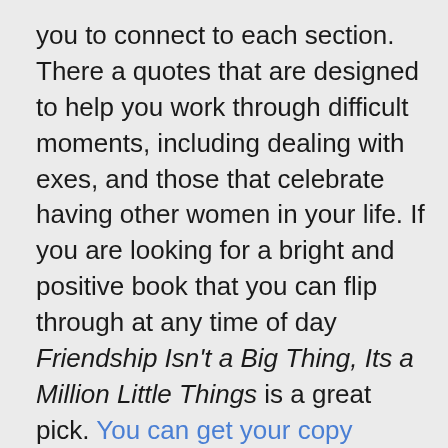you to connect to each section. There a quotes that are designed to help you work through difficult moments, including dealing with exes, and those that celebrate having other women in your life. If you are looking for a bright and positive book that you can flip through at any time of day Friendship Isn't a Big Thing, Its a Million Little Things is a great pick. You can get your copy today.